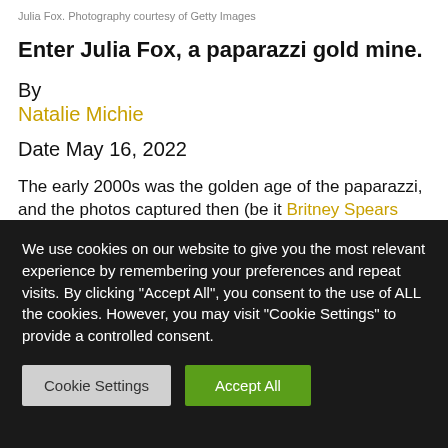Julia Fox. Photography courtesy of Getty Images
Enter Julia Fox, a paparazzi gold mine.
By
Natalie Michie
Date May 16, 2022
The early 2000s was the golden age of the paparazzi, and the photos captured then (be it Britney Spears wearing a
We use cookies on our website to give you the most relevant experience by remembering your preferences and repeat visits. By clicking "Accept All", you consent to the use of ALL the cookies. However, you may visit "Cookie Settings" to provide a controlled consent.
Cookie Settings
Accept All